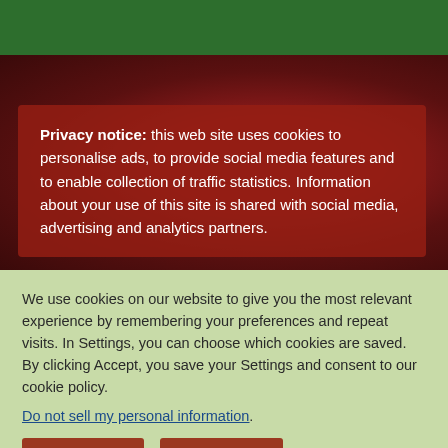[Figure (screenshot): Website screenshot showing a dark reddish food-themed background image with a green navigation bar at the top. A semi-transparent dark red privacy notice overlay box is displayed over the image.]
Privacy notice: this web site uses cookies to personalise ads, to provide social media features and to enable collection of traffic statistics. Information about your use of this site is shared with social media, advertising and analytics partners.
We use cookies on our website to give you the most relevant experience by remembering your preferences and repeat visits. In Settings, you can choose which cookies are saved. By clicking Accept, you save your Settings and consent to our cookie policy.
Do not sell my personal information.
Settings
ACCEPT